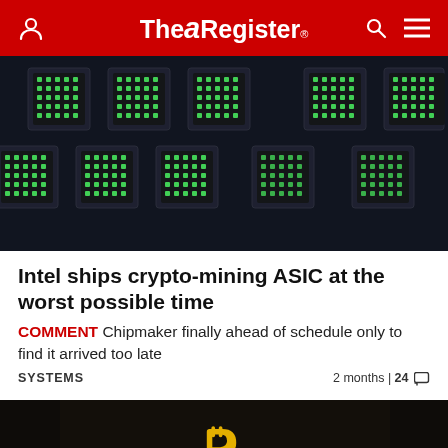The Register
[Figure (photo): Close-up of ASIC crypto-mining chips on a circuit board, dark background with green LED dot matrix grids on black modules]
Intel ships crypto-mining ASIC at the worst possible time
COMMENT Chipmaker finally ahead of schedule only to find it arrived too late
SYSTEMS  2 months | 24
[Figure (photo): Bitcoin symbol glowing with warm light against a dark rocky background, with a silhouetted figure]